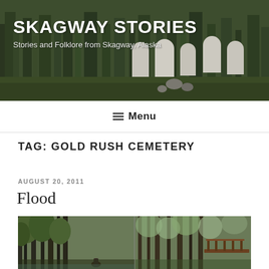SKAGWAY STORIES
Stories and Folklore from Skagway, Alaska
☰ Menu
TAG: GOLD RUSH CEMETERY
AUGUST 20, 2011
Flood
[Figure (photo): A forested trail scene with dense green trees, a person visible at lower center, and a wooden footbridge visible on the right side, appearing to show flooding or high water conditions in a wooded area near Skagway, Alaska.]